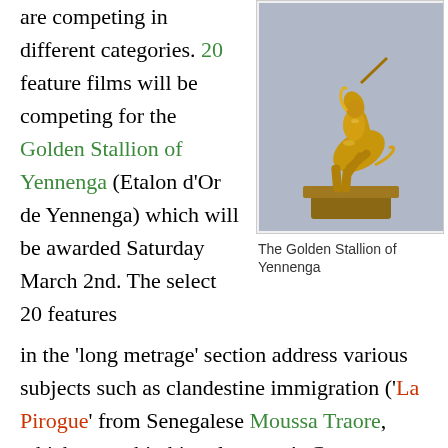are competing in different categories. 20 feature films will be competing for the Golden Stallion of Yennenga (Etalon d'Or de Yennenga) which will be awarded Saturday March 2nd. The select 20 features
[Figure (photo): A golden trophy statue of a warrior on a rearing horse, known as the Golden Stallion of Yennenga award trophy]
The Golden Stallion of Yennenga
in the 'long metrage' section address various subjects such as clandestine immigration ('La Pirogue' from Senegalese Moussa Traore, which was a big hit at last year's Cannes festival), journalism and censorship ('Les Chevaux de Dieu' by Moroccan Nabil Ayouch, also